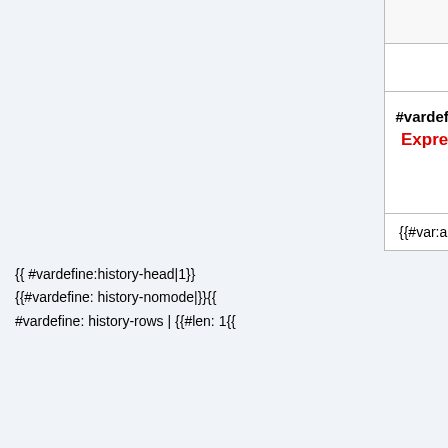| }}{{ | The advancement "Bee Our Guest" can now be unlocked with both beehives and bee nests, instead of only beehives. |
| #vardefine: history-rowspan-{{#var: history-index}} | Expression error: Unrecognized punctuation character "{". }}Template:Version link |  |
| {{#var:argval}} |  |
{{ #vardefine:history-head|1}}
{{#vardefine: history-nomode|}}{{ #vardefine: history-rows | {{#len: 1{{